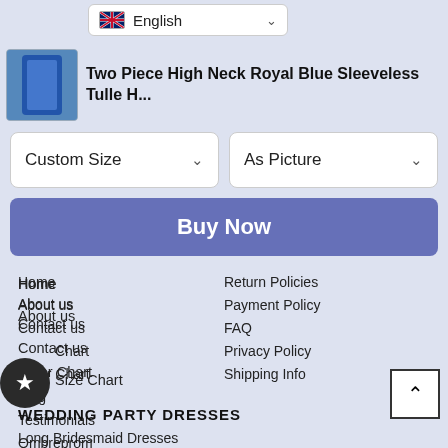English
Two Piece High Neck Royal Blue Sleeveless Tulle H...
Custom Size
As Picture
Buy Now
Home
About us
Contact us
Size Chart
Color Chart
Blog
Testimonials
Ombreprom
Shop our instagram
Return Policies
Payment Policy
FAQ
Privacy Policy
Shipping Info
WEDDING PARTY DRESSES
Long Bridesmaid Dresses